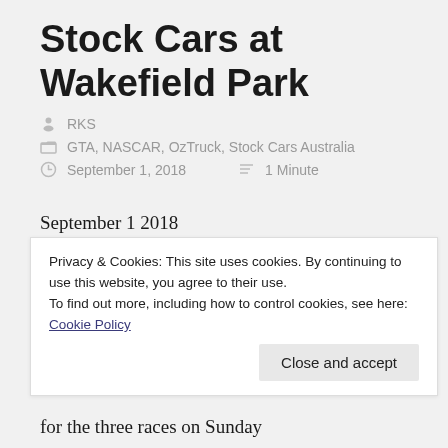Stock Cars at Wakefield Park
RKS
GTA, NASCAR, OzTruck, Stock Cars Australia
September 1, 2018   1 Minute
September 1 2018
Stock Cars Australia raced at Wakefield Park last week in a field that also comprised of Super Sixes, V8 Utes
Privacy & Cookies: This site uses cookies. By continuing to use this website, you agree to their use.
To find out more, including how to control cookies, see here: Cookie Policy
Close and accept
for the three races on Sunday